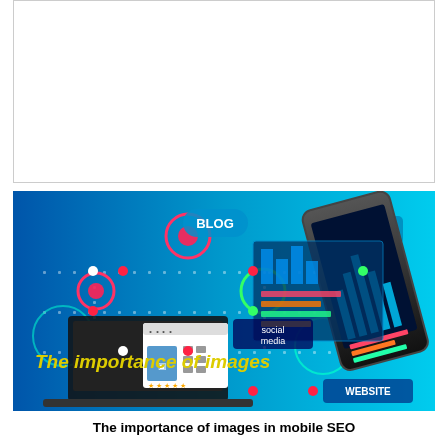[Figure (other): Blank white placeholder box with thin gray border]
[Figure (illustration): Digital marketing illustration showing a smartphone, laptop, and various SEO/social media related icons and circles on a blue background. Text overlays include 'BLOG', 'SEO', 'social media', 'WEBSITE', and 'The importance of images' in yellow font.]
The importance of images in mobile SEO